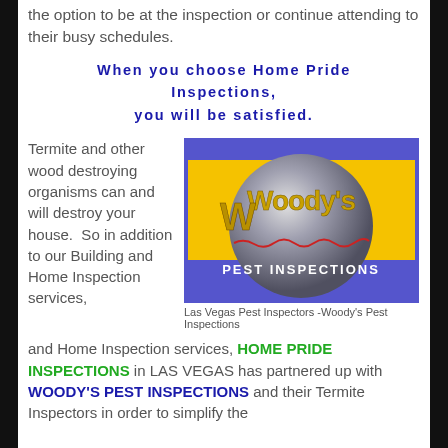the option to be at the inspection or continue attending to their busy schedules.
When you choose Home Pride Inspections, you will be satisfied.
Termite and other wood destroying organisms can and will destroy your house.  So in addition to our Building and Home Inspection services,
[Figure (logo): Woody's Pest Inspections logo - yellow and purple background with metallic globe graphic]
Las Vegas Pest Inspectors -Woody's Pest Inspections
HOME PRIDE INSPECTIONS in LAS VEGAS has partnered up with WOODY'S PEST INSPECTIONS and their Termite Inspectors in order to simplify the